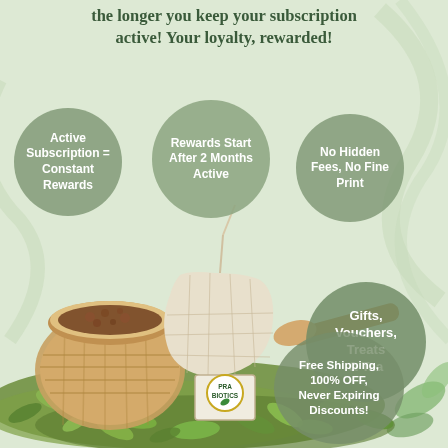the longer you keep your subscription active! Your loyalty, rewarded!
[Figure (infographic): Promotional infographic for Pra Biotics tea subscription with five bubble callouts over a product photo of loose leaf tea spilling from a basket with a muslin tea bag and wooden scoop. Background is light sage green with decorative swirl lines.]
Active Subscription = Constant Rewards
Rewards Start After 2 Months Active
No Hidden Fees, No Fine Print
Gifts, Vouchers, Treats & Tea
Free Shipping, 100% OFF, Never Expiring Discounts!